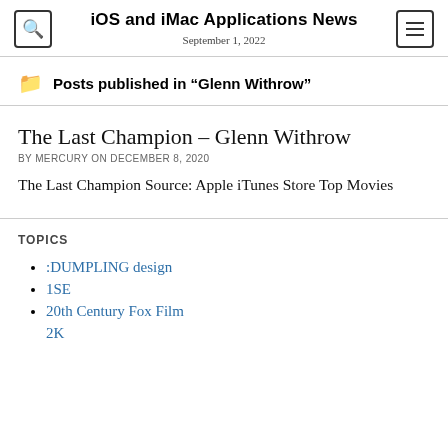iOS and iMac Applications News
September 1, 2022
Posts published in "Glenn Withrow"
The Last Champion – Glenn Withrow
BY MERCURY ON DECEMBER 8, 2020
The Last Champion Source: Apple iTunes Store Top Movies
TOPICS
:DUMPLING design
1SE
20th Century Fox Film
2K